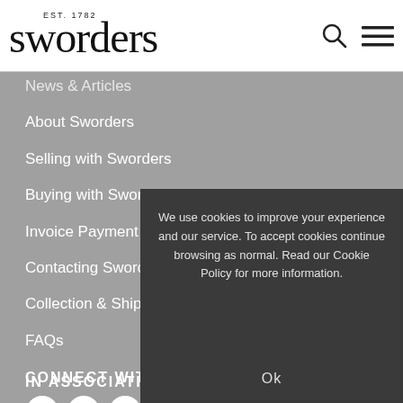EST. 1782 sworders
News & Articles
About Sworders
Selling with Sworders
Buying with Sworders
Invoice Payment
Contacting Sworders
Collection & Shipping
FAQs
CONNECT WITH
[Figure (illustration): Social media icons: Facebook, Twitter, Pinterest, Instagram]
We use cookies to improve your experience and our service. To accept cookies continue browsing as normal. Read our Cookie Policy for more information.
Ok
IN ASSOCIATION WITH